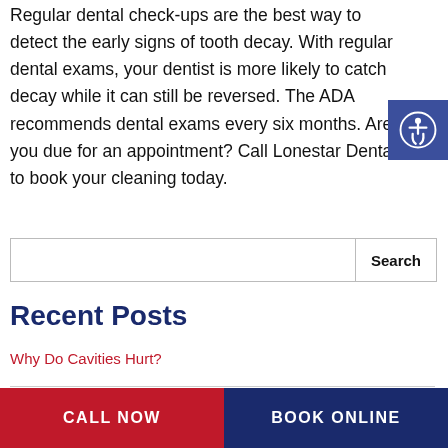Regular dental check-ups are the best way to detect the early signs of tooth decay. With regular dental exams, your dentist is more likely to catch decay while it can still be reversed. The ADA recommends dental exams every six months. Are you due for an appointment? Call Lonestar Dental to book your cleaning today.
[Figure (other): Accessibility icon button — blue square with white wheelchair/person icon]
Search
Recent Posts
Why Do Cavities Hurt?
CALL NOW   BOOK ONLINE